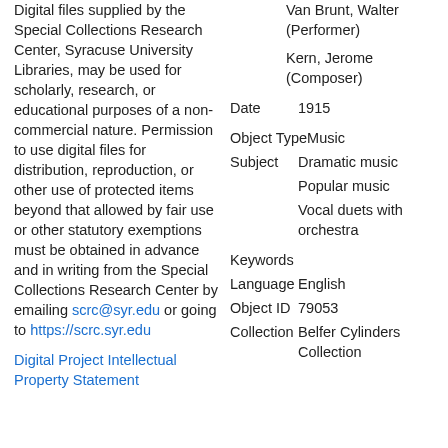Digital files supplied by the Special Collections Research Center, Syracuse University Libraries, may be used for scholarly, research, or educational purposes of a non-commercial nature. Permission to use digital files for distribution, reproduction, or other use of protected items beyond that allowed by fair use or other statutory exemptions must be obtained in advance and in writing from the Special Collections Research Center by emailing scrc@syr.edu or going to https://scrc.syr.edu
Digital Project Intellectual Property Statement
Van Brunt, Walter (Performer)
Kern, Jerome (Composer)
Date  1915
Object Type  Music
Subject  Dramatic music
Popular music
Vocal duets with orchestra
Keywords
Language  English
Object ID  79053
Collection  Belfer Cylinders Collection